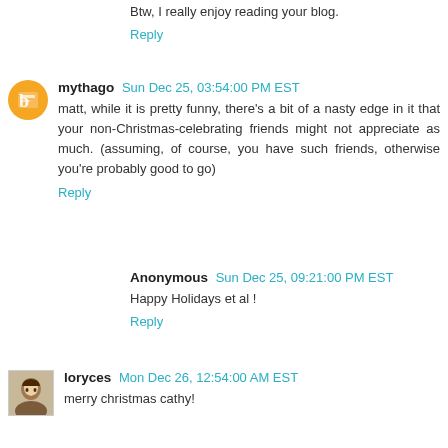Btw, I really enjoy reading your blog.
Reply
mythago  Sun Dec 25, 03:54:00 PM EST
matt, while it is pretty funny, there's a bit of a nasty edge in it that your non-Christmas-celebrating friends might not appreciate as much. (assuming, of course, you have such friends, otherwise you're probably good to go)
Reply
Anonymous  Sun Dec 25, 09:21:00 PM EST
Happy Holidays et al !
Reply
loryces  Mon Dec 26, 12:54:00 AM EST
merry christmas cathy!